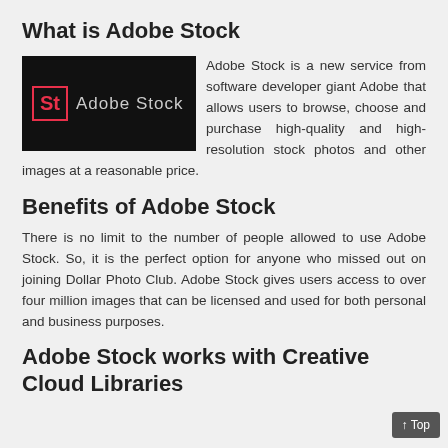What is Adobe Stock
[Figure (logo): Adobe Stock logo — black background with 'St' in a red box on the left, and 'Adobe Stock' text in light gray on the right]
Adobe Stock is a new service from software developer giant Adobe that allows users to browse, choose and purchase high-quality and high-resolution stock photos and other images at a reasonable price.
Benefits of Adobe Stock
There is no limit to the number of people allowed to use Adobe Stock. So, it is the perfect option for anyone who missed out on joining Dollar Photo Club. Adobe Stock gives users access to over four million images that can be licensed and used for both personal and business purposes.
Adobe Stock works with Creative Cloud Libraries